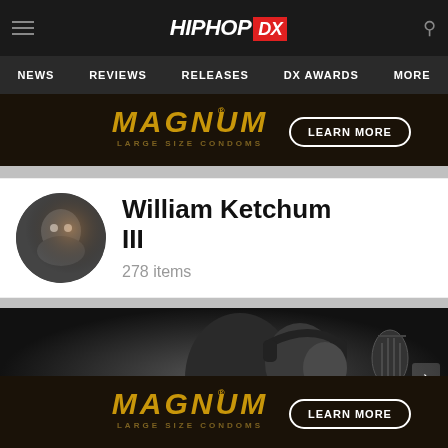HipHopDX — NEWS | REVIEWS | RELEASES | DX AWARDS | MORE
[Figure (screenshot): Magnum Large Size Condoms advertisement banner with LEARN MORE button]
William Ketchum III
278 items
[Figure (photo): Black and white photo of a man wearing headphones in a recording studio with a microphone]
[Figure (screenshot): Magnum Large Size Condoms advertisement banner with LEARN MORE button (bottom)]